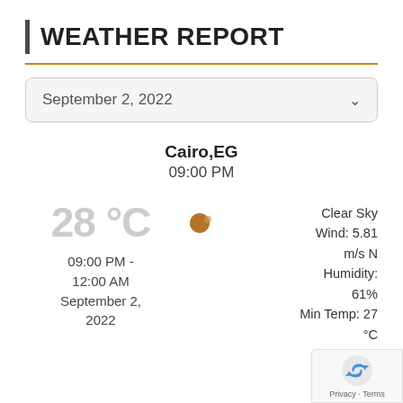WEATHER REPORT
September 2, 2022
Cairo,EG
09:00 PM
28 °C
09:00 PM - 12:00 AM
September 2, 2022
Clear Sky
Wind: 5.81 m/s N
Humidity: 61%
Min Temp: 27 °C
Max Temp: 28 °C